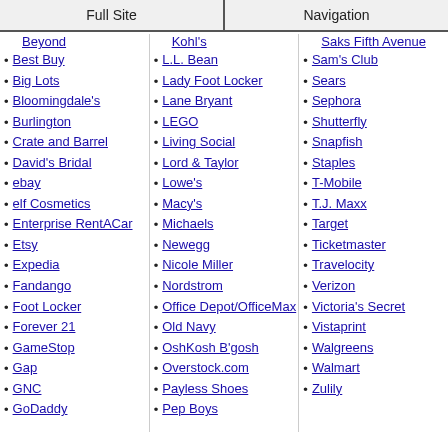Full Site | Navigation
Beyond
Best Buy
Big Lots
Bloomingdale's
Burlington
Crate and Barrel
David's Bridal
ebay
elf Cosmetics
Enterprise RentACar
Etsy
Expedia
Fandango
Foot Locker
Forever 21
GameStop
Gap
GNC
GoDaddy
Kohl's
L.L. Bean
Lady Foot Locker
Lane Bryant
LEGO
Living Social
Lord & Taylor
Lowe's
Macy's
Michaels
Newegg
Nicole Miller
Nordstrom
Office Depot/OfficeMax
Old Navy
OshKosh B'gosh
Overstock.com
Payless Shoes
Pep Boys
Saks Fifth Avenue
Sam's Club
Sears
Sephora
Shutterfly
Snapfish
Staples
T-Mobile
T.J. Maxx
Target
Ticketmaster
Travelocity
Verizon
Victoria's Secret
Vistaprint
Walgreens
Walmart
Zulily